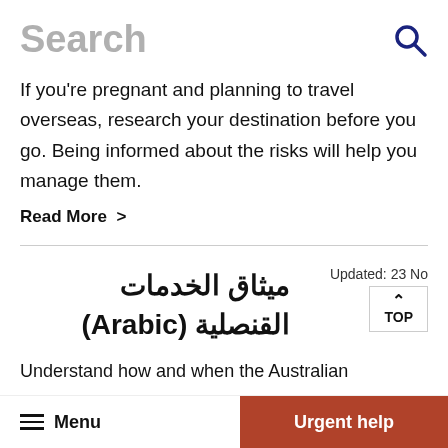Search
If you're pregnant and planning to travel overseas, research your destination before you go. Being informed about the risks will help you manage them.
Read More >
ميثاق الخدمات القنصلية (Arabic)
Updated: 23 No
Understand how and when the Australian
Menu | Urgent help